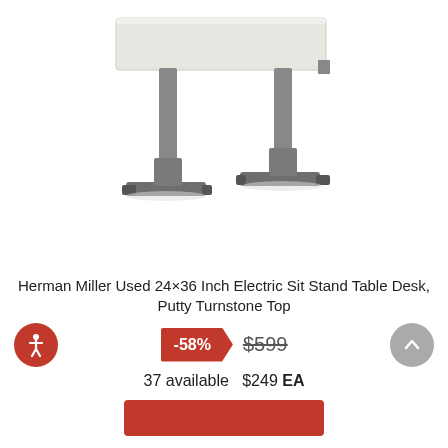[Figure (photo): Herman Miller electric sit-stand desk with white/putty rectangular top and gray steel T-shaped legs, shown on white background]
Herman Miller Used 24×36 Inch Electric Sit Stand Table Desk, Putty Turnstone Top
-58%  $599  37 available  $249 EA